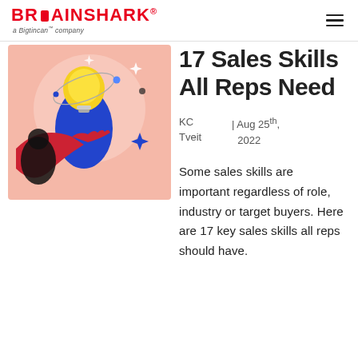BRAINSHARK a Bigtincan™ company
[Figure (illustration): Colorful illustration of a person in blue shirt and red arm holding a glowing lightbulb, with abstract shapes and stars on a pink/salmon background]
17 Sales Skills All Reps Need
KC Tveit | Aug 25th, 2022
Some sales skills are important regardless of role, industry or target buyers. Here are 17 key sales skills all reps should have.